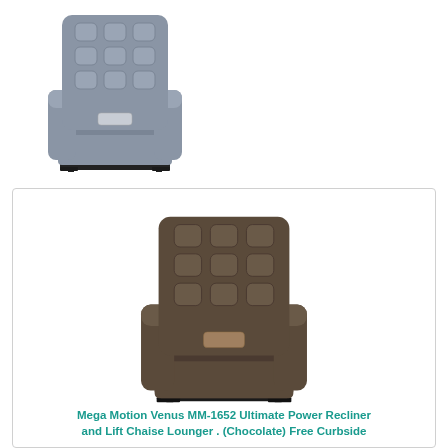[Figure (photo): Gray fabric power lift recliner chair (Mega Motion Venus MM-1652) shown in upright lifted position with tufted back, wide armrests, and metal base/footrest frame]
[Figure (photo): Chocolate/dark brown fabric power lift recliner chair (Mega Motion Venus MM-1652) shown in upright lifted position with tufted back, wide armrests, and metal base/footrest frame]
Mega Motion Venus MM-1652 Ultimate Power Recliner and Lift Chaise Lounger . (Chocolate) Free Curbside